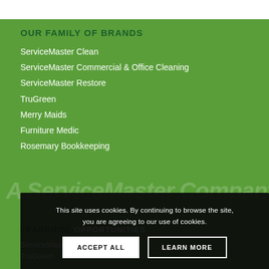OUR FAMILY OF BRANDS
ServiceMaster Clean
ServiceMaster Commercial & Office Cleaning
ServiceMaster Restore
TruGreen
Merry Maids
Furniture Medic
Rosemary Bookkeeping
[Figure (other): A ServiceMaster Company watermark text in large italic font, semi-transparent white on green background]
This site uses cookies. By continuing to browse the site, you are agreeing to our use of cookies.
ACCEPT ALL   LEARN MORE
FRANCHISE Opportunities
ServiceMaster Clean
TruGreen